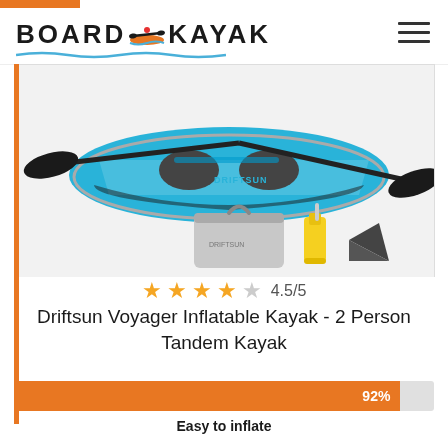BOARD & KAYAK
[Figure (photo): Blue inflatable tandem kayak with two black paddles on top, and a carrying bag, hand pump, and fin accessory shown below]
4.5/5
Driftsun Voyager Inflatable Kayak - 2 Person Tandem Kayak
92%
Easy to inflate